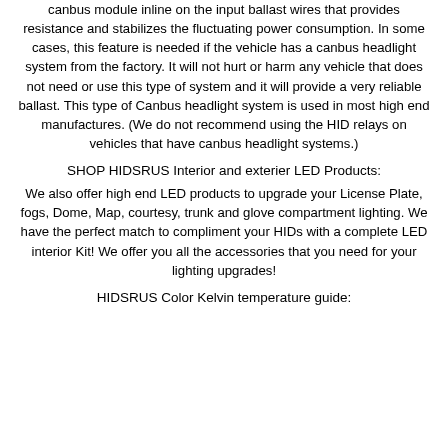canbus module inline on the input ballast wires that provides resistance and stabilizes the fluctuating power consumption. In some cases, this feature is needed if the vehicle has a canbus headlight system from the factory. It will not hurt or harm any vehicle that does not need or use this type of system and it will provide a very reliable ballast. This type of Canbus headlight system is used in most high end manufactures. (We do not recommend using the HID relays on vehicles that have canbus headlight systems.)
SHOP HIDSRUS Interior and exterier LED Products:
We also offer high end LED products to upgrade your License Plate, fogs, Dome, Map, courtesy, trunk and glove compartment lighting. We have the perfect match to compliment your HIDs with a complete LED interior Kit! We offer you all the accessories that you need for your lighting upgrades!
HIDSRUS Color Kelvin temperature guide: